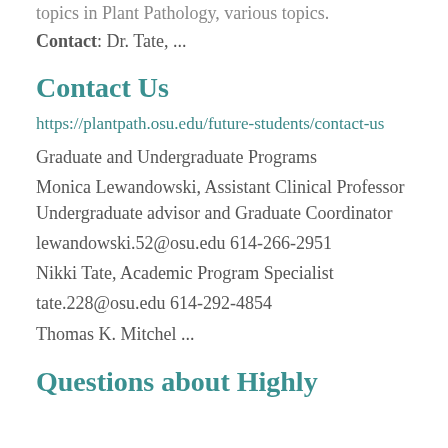topics in Plant Pathology, various topics.
Contact: Dr. Tate, ...
Contact Us
https://plantpath.osu.edu/future-students/contact-us
Graduate and Undergraduate Programs
Monica Lewandowski, Assistant Clinical Professor Undergraduate advisor and Graduate Coordinator
lewandowski.52@osu.edu 614-266-2951
Nikki Tate, Academic Program Specialist
tate.228@osu.edu 614-292-4854
Thomas K. Mitchel ...
Questions about Highly